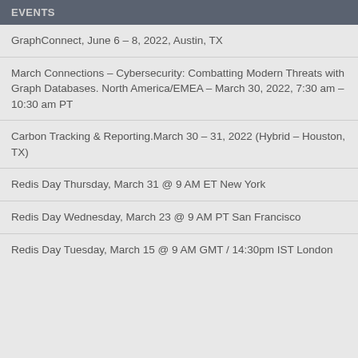EVENTS
GraphConnect, June 6 – 8, 2022, Austin, TX
March Connections – Cybersecurity: Combatting Modern Threats with Graph Databases. North America/EMEA – March 30, 2022, 7:30 am – 10:30 am PT
Carbon Tracking & Reporting.March 30 – 31, 2022 (Hybrid – Houston, TX)
Redis Day Thursday, March 31 @ 9 AM ET New York
Redis Day Wednesday, March 23 @ 9 AM PT San Francisco
Redis Day Tuesday, March 15 @ 9 AM GMT / 14:30pm IST London